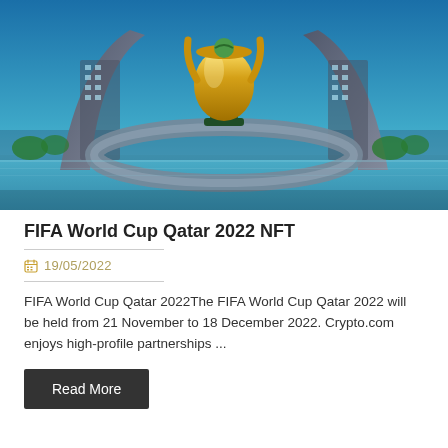[Figure (photo): Composite photo showing the FIFA World Cup trophy (golden trophy with two human figures holding up the Earth) superimposed over a futuristic crescent-shaped skyscraper building in Qatar, with a blue sky and waterfront visible.]
FIFA World Cup Qatar 2022 NFT
19/05/2022
FIFA World Cup Qatar 2022The FIFA World Cup Qatar 2022 will be held from 21 November to 18 December 2022. Crypto.com enjoys high-profile partnerships ...
Read More